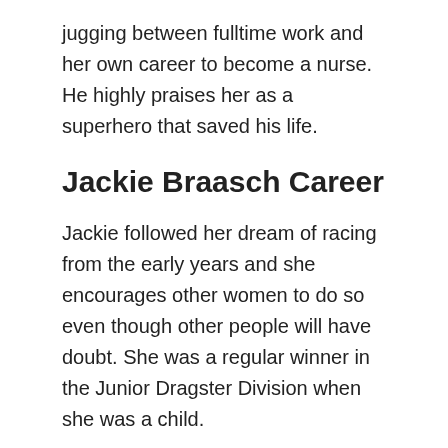jugging between fulltime work and her own career to become a nurse. He highly praises her as a superhero that saved his life.
Jackie Braasch Career
Jackie followed her dream of racing from the early years and she encourages other women to do so even though other people will have doubt. She was a regular winner in the Junior Dragster Division when she was a child.
She competes regularly in the Super Pro, Rockett Brand Race Fuel Bracket Series at her hometown track, Route 66 Raceway in Joliet, Illinois. She was also one of the top competitors in the 2014 Car Chix Ladies Only Drag Race where she made to top 12 finalists out of 398